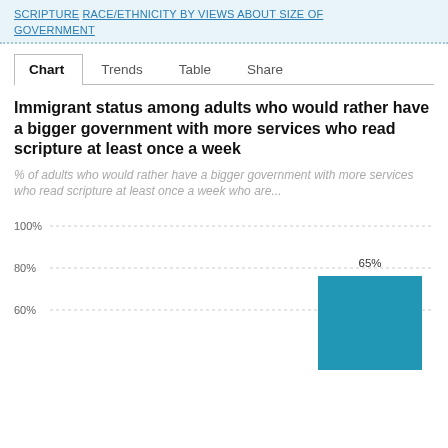SCRIPTURE  RACE/ETHNICITY BY VIEWS ABOUT SIZE OF GOVERNMENT
Chart  Trends  Table  Share
Immigrant status among adults who would rather have a bigger government with more services who read scripture at least once a week
% of adults who would rather have a bigger government with more services who read scripture at least once a week who are...
[Figure (bar-chart): Immigrant status among adults who would rather have a bigger government with more services who read scripture at least once a week]